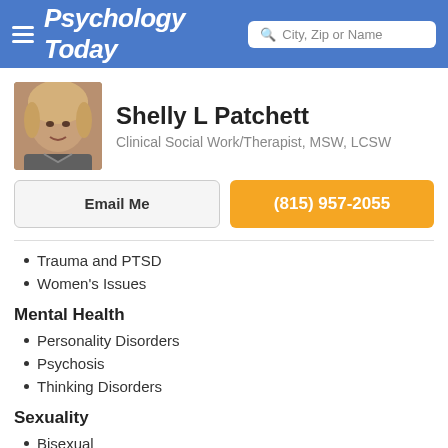Psychology Today — City, Zip or Name search bar
Shelly L Patchett
Clinical Social Work/Therapist, MSW, LCSW
Email Me | (815) 957-2055
Trauma and PTSD
Women's Issues
Mental Health
Personality Disorders
Psychosis
Thinking Disorders
Sexuality
Bisexual
LGBTQ+
Lesbian